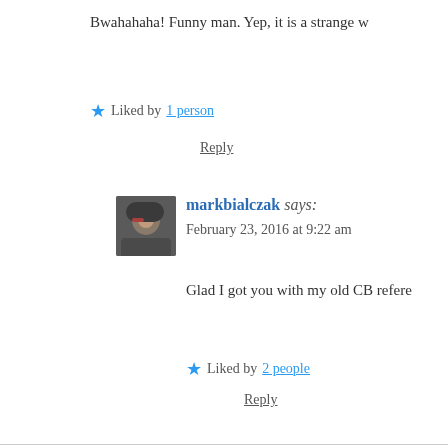Bwahahaha! Funny man. Yep, it is a strange w
★ Liked by 1 person
Reply
markbialczak says:
February 23, 2016 at 9:22 am
Glad I got you with my old CB refere
★ Liked by 2 people
Reply
Elyse says:
February 23, 2016 at 8:42 am
Whatever it takes! Glad you're back, Paul, and feeling